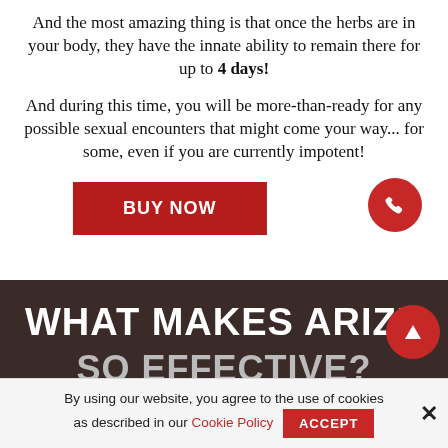And the most amazing thing is that once the herbs are in your body, they have the innate ability to remain there for up to 4 days!
And during this time, you will be more-than-ready for any possible sexual encounters that might come your way... for some, even if you are currently impotent!
[Figure (other): Red 'BUY NOW' button with two red circular icon buttons (phone and up-arrow) on the right side]
WHAT MAKES ARIZE SO EFFECTIVE?
By using our website, you agree to the use of cookies as described in our Cookie Policy  ACCEPT  ×